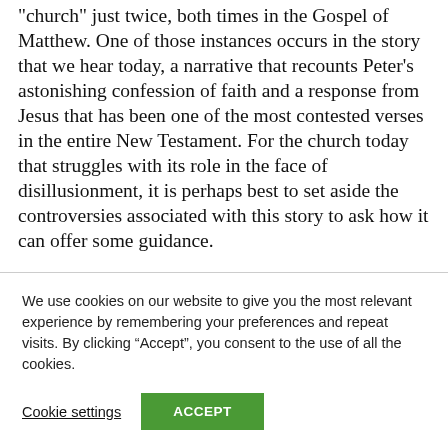"church" just twice, both times in the Gospel of Matthew. One of those instances occurs in the story that we hear today, a narrative that recounts Peter's astonishing confession of faith and a response from Jesus that has been one of the most contested verses in the entire New Testament. For the church today that struggles with its role in the face of disillusionment, it is perhaps best to set aside the controversies associated with this story to ask how it can offer some guidance.
We use cookies on our website to give you the most relevant experience by remembering your preferences and repeat visits. By clicking “Accept”, you consent to the use of all the cookies.
Cookie settings
ACCEPT